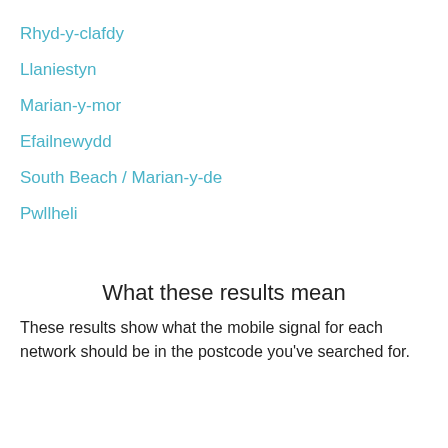Rhyd-y-clafdy
Llaniestyn
Marian-y-mor
Efailnewydd
South Beach / Marian-y-de
Pwllheli
What these results mean
These results show what the mobile signal for each network should be in the postcode you've searched for.